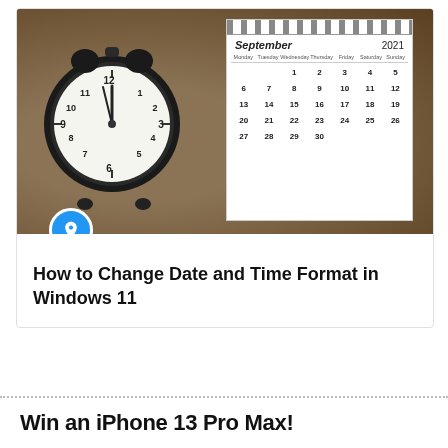[Figure (photo): Photo of a black analog alarm clock next to a September 2021 desk calendar on a wooden surface. A blue circle pin icon overlaps the bottom-left of the image.]
How to Change Date and Time Format in Windows 11
Win an iPhone 13 Pro Max!